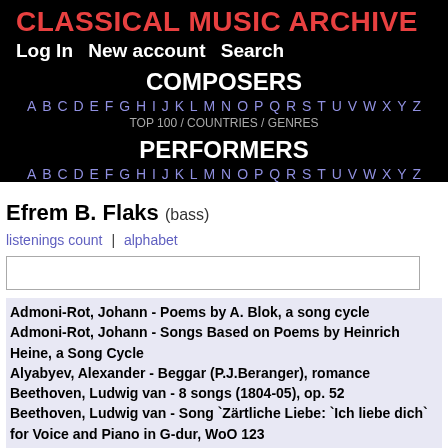CLASSICAL MUSIC ARCHIVE
Log In   New account   Search
COMPOSERS
A B C D E F G H I J K L M N O P Q R S T U V W X Y Z
TOP 100 / COUNTRIES / GENRES
PERFORMERS
A B C D E F G H I J K L M N O P Q R S T U V W X Y Z
Efrem B. Flaks (bass)
listenings count | alphabet
Admoni-Rot, Johann - Poems by A. Blok, a song cycle
Admoni-Rot, Johann - Songs Based on Poems by Heinrich Heine, a Song Cycle
Alyabyev, Alexander - Beggar (P.J.Beranger), romance
Beethoven, Ludwig van - 8 songs (1804-05), op. 52
Beethoven, Ludwig van - Song `Zärtliche Liebe: `Ich liebe dich` for Voice and Piano in G-dur, WoO 123
Bernard, Matvei Ivanovich - Trip complaints (Dorozhnye zhaloby),